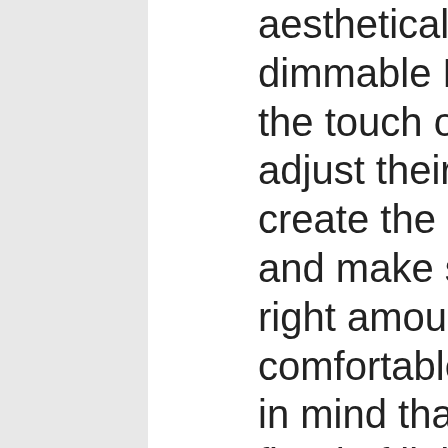aesthetically appealing dimmable LED table lights. With the touch of a button, you can adjust their brightness and create the desired atmosphere and make sure you have the right amount of light for a comfortable read. Please keep in mind that an unnecessary flood of light can hurt your eyes and thus completely ruin your experience.
Aside from desk lamps, you can also consider purchasing a floor lamp or hanging a globe light above your